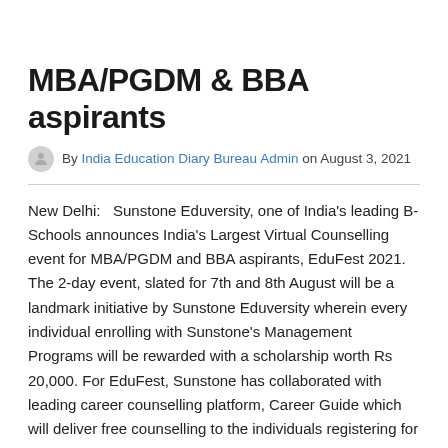MBA/PGDM & BBA aspirants
By India Education Diary Bureau Admin on August 3, 2021
New Delhi:   Sunstone Eduversity, one of India's leading B-Schools announces India's Largest Virtual Counselling event for MBA/PGDM and BBA aspirants, EduFest 2021. The 2-day event, slated for 7th and 8th August will be a landmark initiative by Sunstone Eduversity wherein every individual enrolling with Sunstone's Management Programs will be rewarded with a scholarship worth Rs 20,000. For EduFest, Sunstone has collaborated with leading career counselling platform, Career Guide which will deliver free counselling to the individuals registering for the event. While the event will be illuminated with leadership sessions by Industry Leaders such as Vaibhav Rustagi (FMCG Head, Flipkart Grocery), Jagnoor